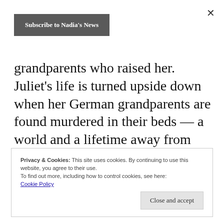[Figure (other): Close (X) button in top right corner]
[Figure (other): Subscribe to Nadia's News button, dark grey background, white text]
grandparents who raised her. Juliet’s life is turned upside down when her German grandparents are found murdered in their beds — a world and a lifetime away from Nazi Germany. Or has Nazi Germany just got way closer than Juliet suspects?
Privacy & Cookies: This site uses cookies. By continuing to use this website, you agree to their use.
To find out more, including how to control cookies, see here: Cookie Policy
[Figure (other): Close and accept button, light grey background]